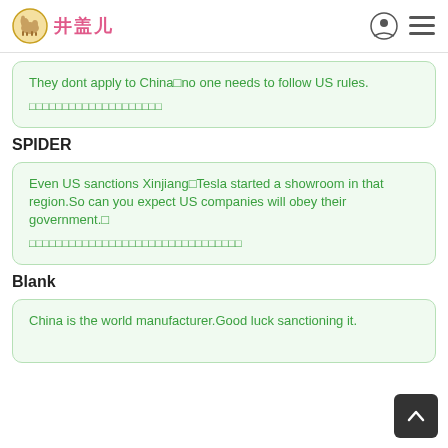井盖儿
They dont apply to China□no one needs to follow US rules.
□□□□□□□□□□□□□□□□□□□□
SPIDER
Even US sanctions Xinjiang□Tesla started a showroom in that region.So can you expect US companies will obey their government.□
□□□□□□□□□□□□□□□□□□□□□□□□□□□□□□□□
Blank
China is the world manufacturer.Good luck sanctioning it.